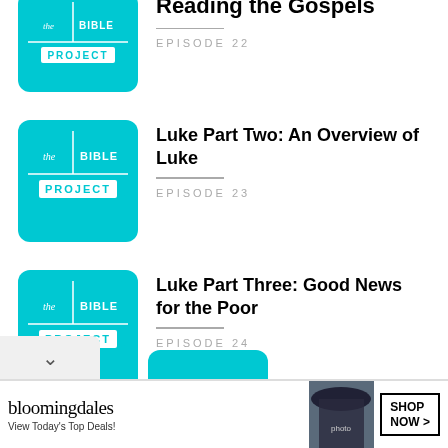[Figure (logo): The Bible Project logo thumbnail - cyan/teal square with white text]
Reading the Gospels
EPISODE 22
[Figure (logo): The Bible Project logo thumbnail - cyan/teal square with white text]
Luke Part Two: An Overview of Luke
EPISODE 23
[Figure (logo): The Bible Project logo thumbnail - cyan/teal square with white text]
Luke Part Three: Good News for the Poor
EPISODE 24
[Figure (screenshot): Bloomingdales advertisement banner: View Today's Top Deals! SHOP NOW >]